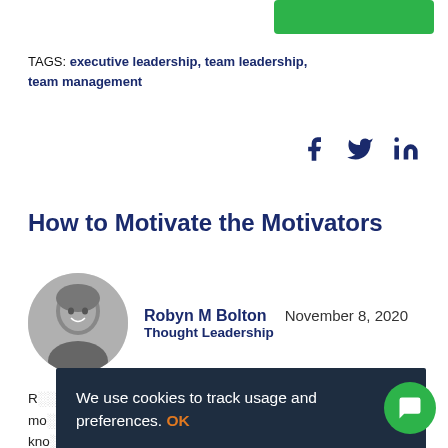[Figure (other): Green 'Read More' button at top right]
TAGS: executive leadership, team leadership, team management
[Figure (other): Social share icons: Facebook, Twitter, LinkedIn]
How to Motivate the Motivators
[Figure (photo): Black and white portrait photo of Robyn M Bolton, a woman with short blonde hair, smiling]
Robyn M Bolton   November 8, 2020
Thought Leadership
R... to motivate... knowing... servings of fruits and vegetables each day Floss tw... day Get 10,000 steps a day Buy insurance Consistently...
We use cookies to track usage and preferences. OK